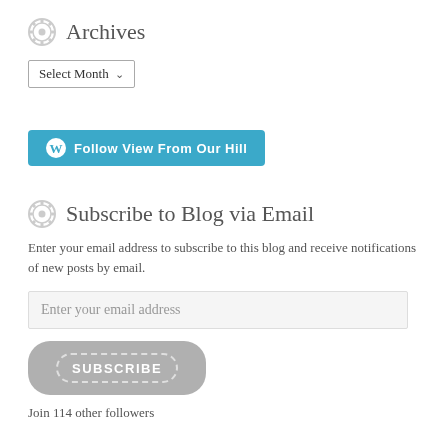Archives
[Figure (screenshot): Select Month dropdown widget]
[Figure (screenshot): Follow View From Our Hill button with WordPress icon]
Subscribe to Blog via Email
Enter your email address to subscribe to this blog and receive notifications of new posts by email.
[Figure (screenshot): Enter your email address input field]
[Figure (screenshot): SUBSCRIBE button]
Join 114 other followers